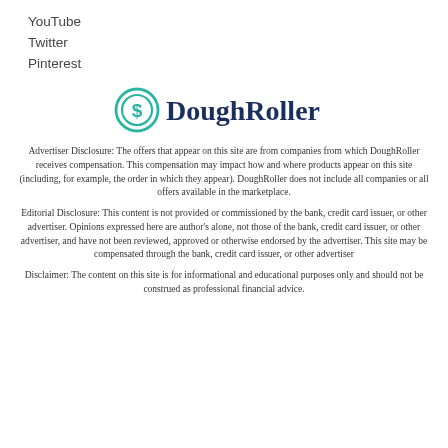YouTube
Twitter
Pinterest
[Figure (logo): DoughRoller logo with a teal dollar-sign circle icon and the text 'DoughRoller' in dark blue bold serif font]
Advertiser Disclosure: The offers that appear on this site are from companies from which DoughRoller receives compensation. This compensation may impact how and where products appear on this site (including, for example, the order in which they appear). DoughRoller does not include all companies or all offers available in the marketplace.
Editorial Disclosure: This content is not provided or commissioned by the bank, credit card issuer, or other advertiser. Opinions expressed here are author's alone, not those of the bank, credit card issuer, or other advertiser, and have not been reviewed, approved or otherwise endorsed by the advertiser. This site may be compensated through the bank, credit card issuer, or other advertiser
Disclaimer: The content on this site is for informational and educational purposes only and should not be construed as professional financial advice.